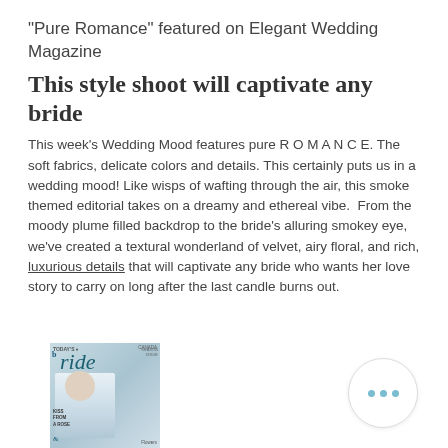"Pure Romance" featured on Elegant Wedding Magazine
This style shoot will captivate any bride
This week's Wedding Mood features pure R O M A N C E. The soft fabrics, delicate colors and details. This certainly puts us in a wedding mood! Like wisps of wafting through the air, this smoke themed editorial takes on a dreamy and ethereal vibe.  From the moody plume filled backdrop to the bride's alluring smokey eye, we've created a textural wonderland of velvet, airy floral, and rich, luxurious details that will captivate any bride who wants her love story to carry on long after the last candle burns out.
[Figure (photo): Magazine cover thumbnail showing 'Today's Bride' magazine with a bride photo and teal/blue color scheme]